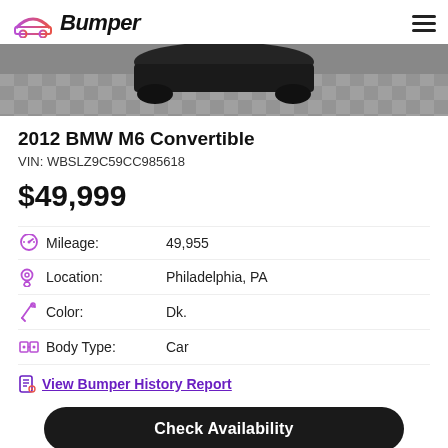Bumper
[Figure (photo): Partial rear/wheel view of a dark car on a checkered floor, black and white photo]
2012 BMW M6 Convertible
VIN: WBSLZ9C59CC985618
$49,999
Mileage: 49,955
Location: Philadelphia, PA
Color: Dk.
Body Type: Car
View Bumper History Report
Check Availability